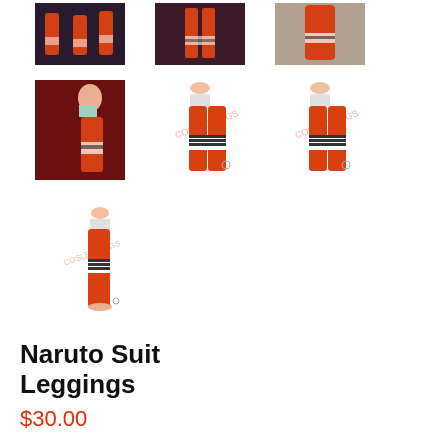[Figure (photo): Photo of model wearing orange Naruto suit leggings - top left thumbnail 1]
[Figure (photo): Photo of model wearing orange Naruto suit leggings - top center thumbnail 2]
[Figure (photo): Photo of model wearing orange Naruto suit leggings - top right thumbnail 3]
[Figure (photo): Photo of model wearing orange Naruto suit leggings from the side]
[Figure (illustration): Front view product illustration of orange Naruto suit leggings with black and white band, watermarked]
[Figure (illustration): Back view product illustration of orange Naruto suit leggings with black and white band, watermarked]
[Figure (illustration): Side view product illustration of orange Naruto suit leggings with black and white band, watermarked]
Naruto Suit Leggings
$30.00